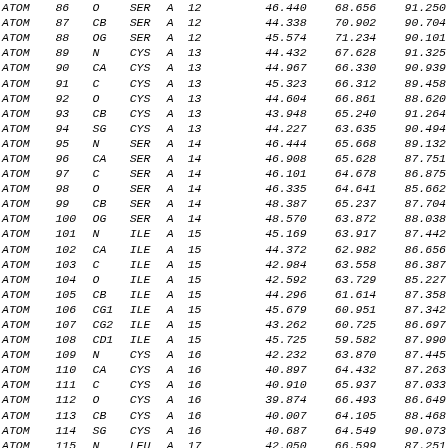| ATOM | # | Atom | Res | Chain | ResSeq |  | X | Y | Z |
| --- | --- | --- | --- | --- | --- | --- | --- | --- | --- |
| ATOM | 86 | O | SER | A | 12 |  | 46.440 | 68.656 | 91.250 |
| ATOM | 87 | CB | SER | A | 12 |  | 44.338 | 70.902 | 90.704 |
| ATOM | 88 | OG | SER | A | 12 |  | 45.574 | 71.234 | 90.101 |
| ATOM | 89 | N | CYS | A | 13 |  | 44.432 | 67.628 | 91.325 |
| ATOM | 90 | CA | CYS | A | 13 |  | 44.967 | 66.330 | 90.939 |
| ATOM | 91 | C | CYS | A | 13 |  | 45.323 | 66.312 | 89.458 |
| ATOM | 92 | O | CYS | A | 13 |  | 44.604 | 66.861 | 88.620 |
| ATOM | 93 | CB | CYS | A | 13 |  | 43.948 | 65.240 | 91.264 |
| ATOM | 94 | SG | CYS | A | 13 |  | 44.227 | 63.635 | 90.494 |
| ATOM | 95 | N | SER | A | 14 |  | 46.444 | 65.668 | 89.132 |
| ATOM | 96 | CA | SER | A | 14 |  | 46.908 | 65.628 | 87.751 |
| ATOM | 97 | C | SER | A | 14 |  | 46.101 | 64.678 | 86.875 |
| ATOM | 98 | O | SER | A | 14 |  | 46.335 | 64.641 | 85.662 |
| ATOM | 99 | CB | SER | A | 14 |  | 48.387 | 65.237 | 87.704 |
| ATOM | 100 | OG | SER | A | 14 |  | 48.570 | 63.872 | 88.038 |
| ATOM | 101 | N | ILE | A | 15 |  | 45.169 | 63.917 | 87.442 |
| ATOM | 102 | CA | ILE | A | 15 |  | 44.372 | 62.982 | 86.656 |
| ATOM | 103 | C | ILE | A | 15 |  | 42.984 | 63.558 | 86.387 |
| ATOM | 104 | O | ILE | A | 15 |  | 42.592 | 63.729 | 85.227 |
| ATOM | 105 | CB | ILE | A | 15 |  | 44.296 | 61.614 | 87.358 |
| ATOM | 106 | CG1 | ILE | A | 15 |  | 45.679 | 60.951 | 87.342 |
| ATOM | 107 | CG2 | ILE | A | 15 |  | 43.262 | 60.725 | 86.697 |
| ATOM | 108 | CD1 | ILE | A | 15 |  | 45.725 | 59.582 | 87.990 |
| ATOM | 109 | N | CYS | A | 16 |  | 42.232 | 63.870 | 87.445 |
| ATOM | 110 | CA | CYS | A | 16 |  | 40.897 | 64.432 | 87.263 |
| ATOM | 111 | C | CYS | A | 16 |  | 40.910 | 65.937 | 87.033 |
| ATOM | 112 | O | CYS | A | 16 |  | 39.874 | 66.493 | 86.649 |
| ATOM | 113 | CB | CYS | A | 16 |  | 40.007 | 64.105 | 88.468 |
| ATOM | 114 | SG | CYS | A | 16 |  | 40.687 | 64.549 | 90.073 |
| ATOM | 115 | N | LEU | A | 17 |  | 42.050 | 66.599 | 87.251 |